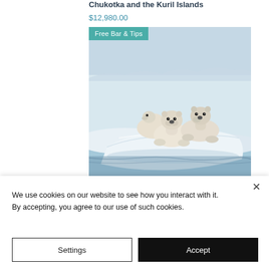Chukotka and the Kuril Islands
$12,980.00
[Figure (photo): Three polar bears standing on sea ice with water reflection visible. A teal 'Free Bar & Tips' badge overlays the top-left corner of the image.]
We use cookies on our website to see how you interact with it. By accepting, you agree to our use of such cookies.
Settings
Accept